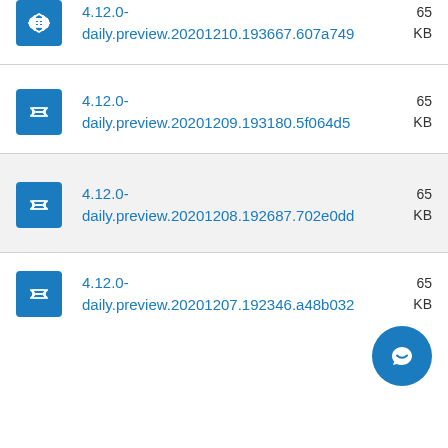4.12.0-daily.preview.20201210.193667.607a749  65... KB
4.12.0-daily.preview.20201209.193180.5f064d5  65... KB
4.12.0-daily.preview.20201208.192687.702e0dd  65... KB
4.12.0-daily.preview.20201207.192346.a48b032  65... KB